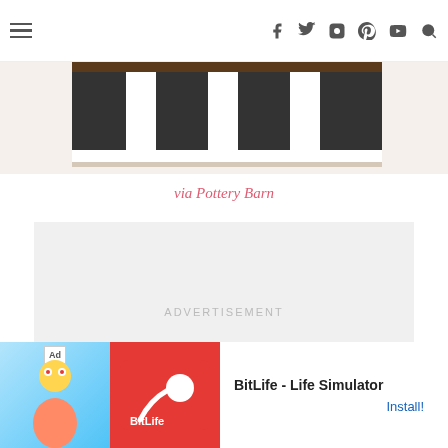Navigation bar with hamburger menu and social icons: Facebook, Twitter, Instagram, Pinterest, YouTube, Search
[Figure (photo): Black and white striped rug on a light floor, showing alternating wide black and white horizontal stripes]
via Pottery Barn
[Figure (other): Advertisement placeholder box with text ADVERTISEMENT]
[Figure (other): BitLife - Life Simulator app advertisement banner with Ad label, character illustration, red BitLife logo, and Install button]